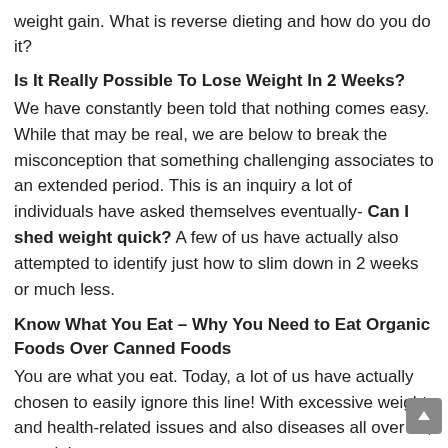weight gain. What is reverse dieting and how do you do it?
Is It Really Possible To Lose Weight In 2 Weeks?
We have constantly been told that nothing comes easy. While that may be real, we are below to break the misconception that something challenging associates to an extended period. This is an inquiry a lot of individuals have asked themselves eventually- Can I shed weight quick? A few of us have actually also attempted to identify just how to slim down in 2 weeks or much less.
Know What You Eat – Why You Need to Eat Organic Foods Over Canned Foods
You are what you eat. Today, a lot of us have actually chosen to easily ignore this line! With excessive weight and health-related issues and also diseases all over us, we might requ